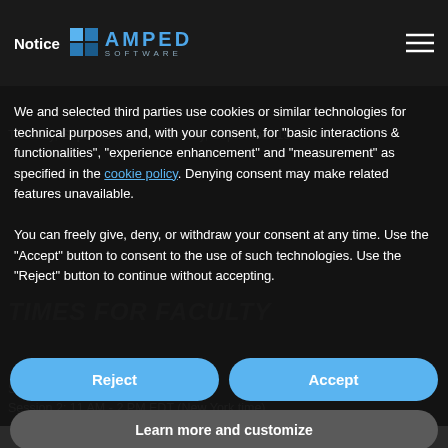Notice | AMPED SOFTWARE
We and selected third parties use cookies or similar technologies for technical purposes and, with your consent, for "basic interactions & functionalities", "experience enhancement" and "measurement" as specified in the cookie policy. Denying consent may make related features unavailable.
You can freely give, deny, or withdraw your consent at any time. Use the "Accept" button to consent to the use of such technologies. Use the "Reject" button to continue without accepting.
Tuesday, September 13 - Thursday, September 15 on the
TIMES FOR FACULTY
Session 2: 11 AM - 2 PM EDT (New York time)
To accommodate our users in various time zones, we will have two rounds of live sessions, one in the European morning time zone and one in the North American morning time zone. All users are welcome to attend the sessions that work better based on their needs and time zone.
WHAT IS THE AGENDA?